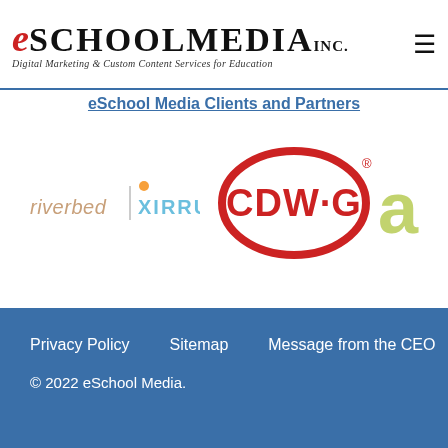[Figure (logo): eSchool Media Inc. logo with tagline 'Digital Marketing & Custom Content Services for Education']
eSchool Media Clients and Partners
[Figure (logo): Riverbed | XIRRUS logo]
[Figure (logo): CDW·G logo in red]
[Figure (logo): Partial 'ac' logo in olive/yellow-green]
Privacy Policy    Sitemap    Message from the CEO
© 2022 eSchool Media.